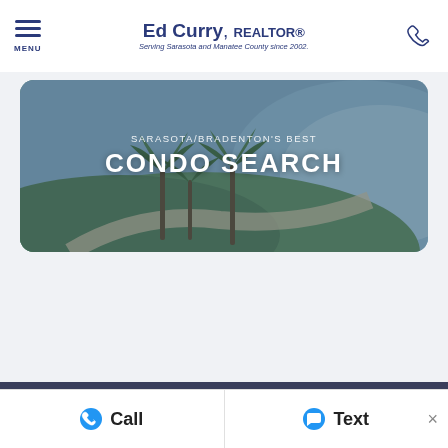MENU | Ed Curry, REALTOR® | Serving Sarasota and Manatee County since 2002.
[Figure (photo): Aerial/overhead photo of a coastal park area with palm trees, green lawn, curved pathway, and waterfront visible. Overlaid text reads: SARASOTA/BRADENTON'S BEST CONDO SEARCH]
SARASOTA/BRADENTON'S BEST CONDO SEARCH
Call   Text